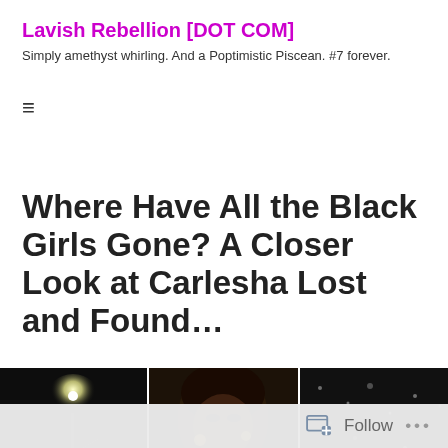Lavish Rebellion [DOT COM]
Simply amethyst whirling. And a Poptimistic Piscean. #7 forever.
≡
Where Have All the Black Girls Gone? A Closer Look at Carlesha Lost and Found…
[Figure (photo): Three dark photography panels side by side: left panel shows a night street scene with bright lamp flare, center panel shows a close-up of a person with gold accessories, right panel shows a dark scene with scattered light specks.]
Follow  •••